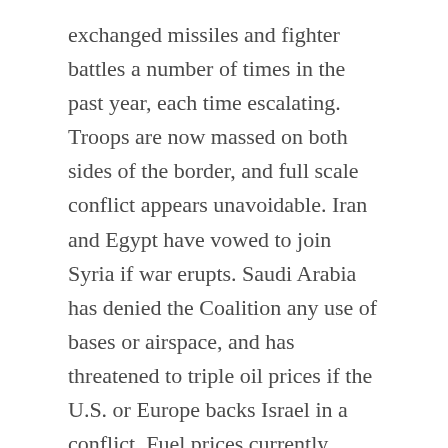exchanged missiles and fighter battles a number of times in the past year, each time escalating. Troops are now massed on both sides of the border, and full scale conflict appears unavoidable. Iran and Egypt have vowed to join Syria if war erupts. Saudi Arabia has denied the Coalition any use of bases or airspace, and has threatened to triple oil prices if the U.S. or Europe backs Israel in a conflict. Fuel prices currently average $6.80 per gallon in the U.S.
Building on the anti-war sentiment, Hillary